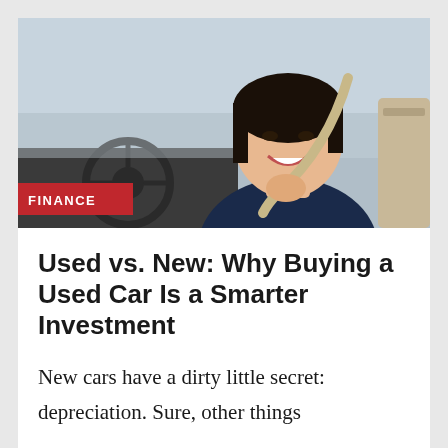[Figure (photo): Young Asian woman in driver seat of car, buckling seatbelt, smiling at camera]
Used vs. New: Why Buying a Used Car Is a Smarter Investment
New cars have a dirty little secret: depreciation. Sure, other things